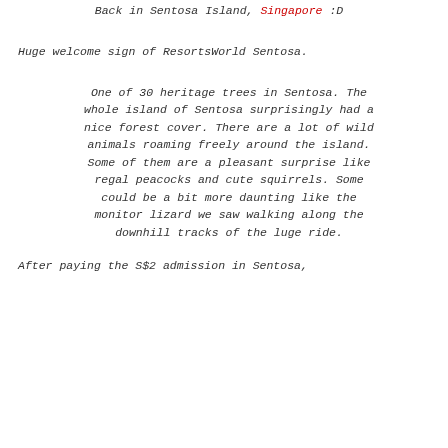Back in Sentosa Island, Singapore :D
Huge welcome sign of ResortsWorld Sentosa.
One of 30 heritage trees in Sentosa. The whole island of Sentosa surprisingly had a nice forest cover. There are a lot of wild animals roaming freely around the island. Some of them are a pleasant surprise like regal peacocks and cute squirrels. Some could be a bit more daunting like the monitor lizard we saw walking along the downhill tracks of the luge ride.
After paying the S$2 admission in Sentosa,